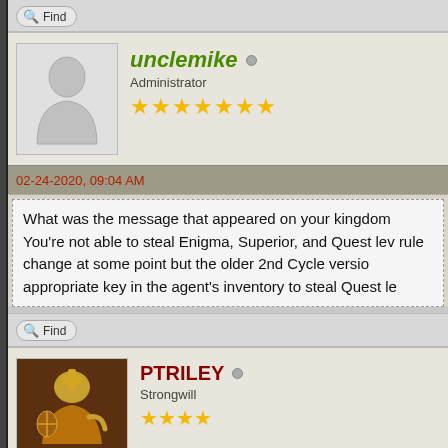[Figure (screenshot): Find button bar at the top of a forum page]
unclemike
Administrator
★★★★★★★
02-24-2020, 09:04 AM
What was the message that appeared on your kingdom You're not able to steal Enigma, Superior, and Quest lev rule change at some point but the older 2nd Cycle versio appropriate key in the agent's inventory to steal Quest le
[Figure (screenshot): Find button bar between posts]
PTRILEY
Strongwill
★★★★